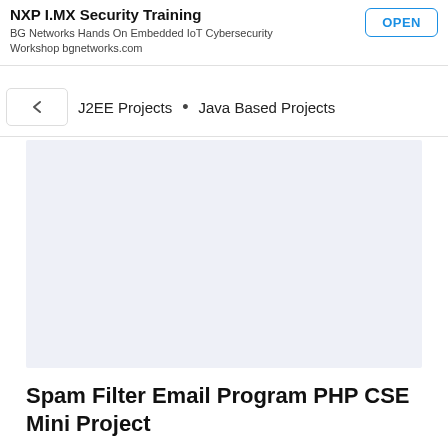NXP I.MX Security Training
BG Networks Hands On Embedded IoT Cybersecurity Workshop bgnetworks.com
J2EE Projects • Java Based Projects
[Figure (other): Light blue-grey placeholder image area]
Spam Filter Email Program PHP CSE Mini Project